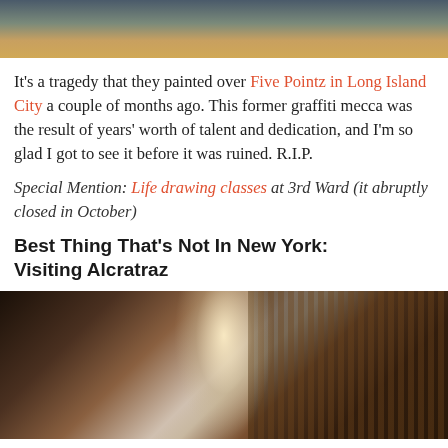[Figure (photo): Top portion of a photo showing graffiti murals on a building wall, appears to be Five Pointz in Long Island City with colorful street art]
It's a tragedy that they painted over Five Pointz in Long Island City a couple of months ago. This former graffiti mecca was the result of years' worth of talent and dedication, and I'm so glad I got to see it before it was ruined. R.I.P.
Special Mention: Life drawing classes at 3rd Ward (it abruptly closed in October)
Best Thing That's Not In New York: Visiting Alcratraz
[Figure (photo): Interior photo of Alcatraz prison showing cell blocks with metal bars, walkways, and a bright light source from above]